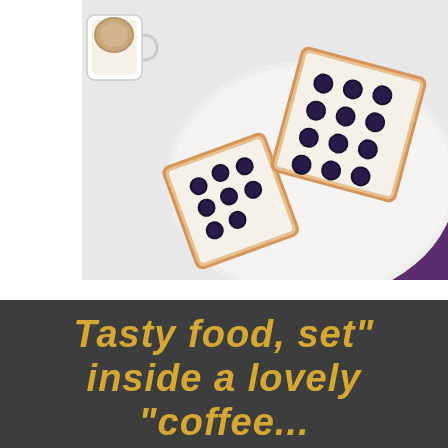[Figure (photo): Overhead view of toast slices topped with cream cheese and blueberries on a plate, with a coffee cup in the upper left corner, on a white and purple surface]
Tasty food, set" inside a lovely "coffee...